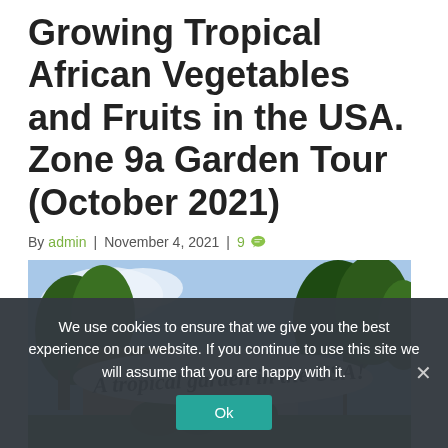Growing Tropical African Vegetables and Fruits in the USA. Zone 9a Garden Tour (October 2021)
By admin | November 4, 2021 | 9
[Figure (photo): Photo of a garden with trees and houses, overlaid with handwritten-style text reading 'A tropical garden in the USA!']
We use cookies to ensure that we give you the best experience on our website. If you continue to use this site we will assume that you are happy with it.